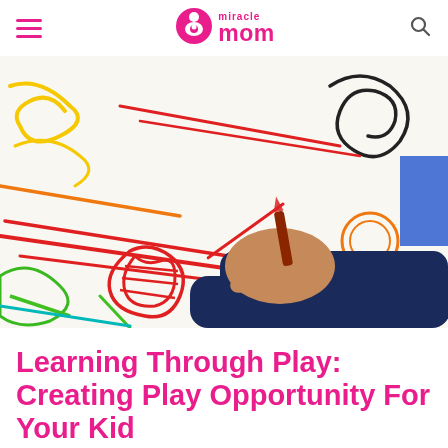miracle mom
[Figure (photo): A child's hand drawing colorful crayon scribbles on white paper — red, yellow, green, blue, orange, and black crayon marks covering the surface]
Learning Through Play: Creating Play Opportunity For Your Kid